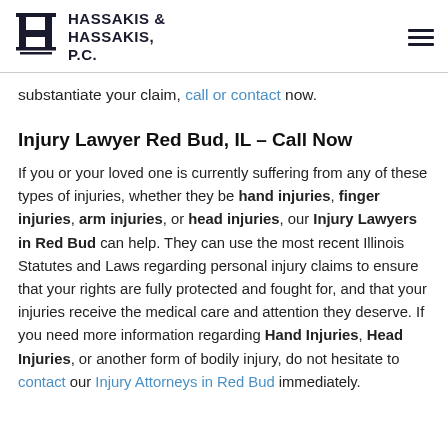HASSAKIS & HASSAKIS, P.C.
substantiate your claim, call or contact now.
Injury Lawyer Red Bud, IL – Call Now
If you or your loved one is currently suffering from any of these types of injuries, whether they be hand injuries, finger injuries, arm injuries, or head injuries, our Injury Lawyers in Red Bud can help. They can use the most recent Illinois Statutes and Laws regarding personal injury claims to ensure that your rights are fully protected and fought for, and that your injuries receive the medical care and attention they deserve. If you need more information regarding Hand Injuries, Head Injuries, or another form of bodily injury, do not hesitate to contact our Injury Attorneys in Red Bud immediately.